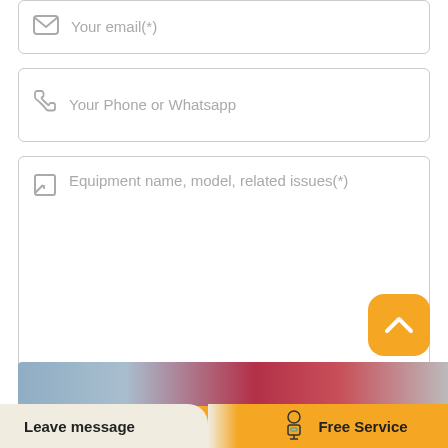[Figure (screenshot): Email input field with envelope icon and placeholder text 'Your email(*)']
[Figure (screenshot): Phone input field with phone icon and placeholder text 'Your Phone or Whatsapp']
[Figure (screenshot): Textarea field with edit icon and placeholder text 'Equipment name, model, related issues(*)']
[Figure (screenshot): Orange rounded scroll-to-top button with upward chevron icon]
[Figure (screenshot): Large orange 'Send Now!' button]
[Figure (photo): Bottom image strip showing industrial/warehouse scene with red fabric]
[Figure (screenshot): Bottom navigation bar with 'Leave message' on beige left side and 'Free Service' on orange right side with person icon]